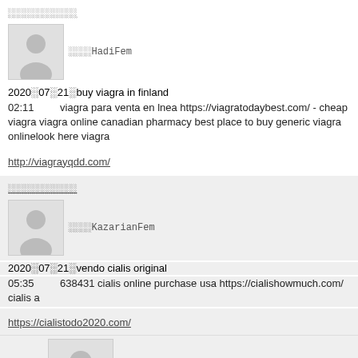░░░░░░░░░░░░ (username link)
[Figure (illustration): Avatar placeholder image with silhouette of a person, grey background]
░░░░HadiFem
2020░07░21░buy viagra in finland
02:11     viagra para venta en lnea https://viagratodaybest.com/ - cheap viagra viagra online canadian pharmacy best place to buy generic viagra onlinelook here viagra
http://viagrayqdd.com/
░░░░░░░░░░░░ (username link)
[Figure (illustration): Avatar placeholder image with silhouette of a person, grey background]
░░░░KazarianFem
2020░07░21░vendo cialis original
05:35     638431 cialis online purchase usa https://cialishowmuch.com/ cialis a
https://cialistodo2020.com/
[Figure (illustration): Avatar placeholder image with silhouette of a person, grey background]
░░░░░drogueaxaf